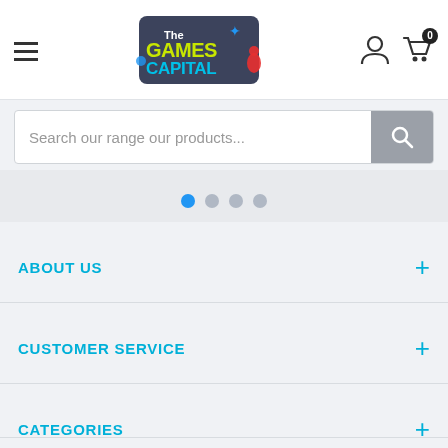The Games Capital - navigation header with hamburger menu, logo, user icon and cart (0)
Search our range our products...
[Figure (other): Carousel pagination dots: 4 dots, first one active (blue)]
ABOUT US
CUSTOMER SERVICE
CATEGORIES